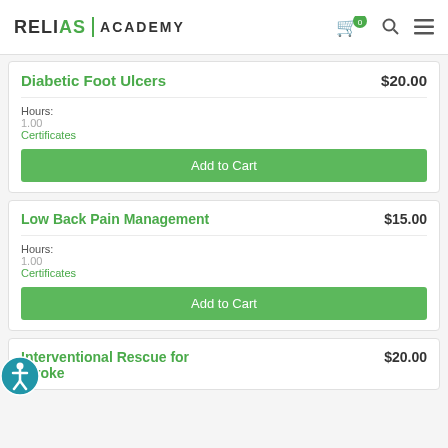RELIAS | ACADEMY
Diabetic Foot Ulcers  $20.00
Hours:
1.00
Certificates
Add to Cart
Low Back Pain Management  $15.00
Hours:
1.00
Certificates
Add to Cart
Interventional Rescue for Stroke  $20.00